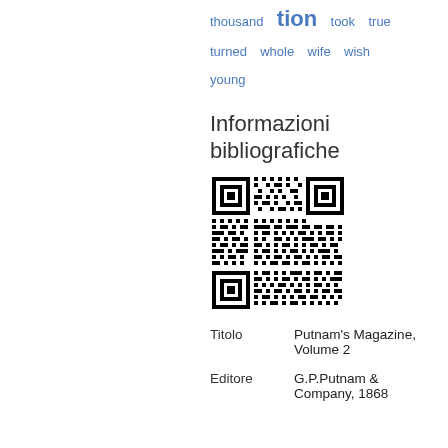thousand  tion  took  true  turned  whole  wife  wish  young
Informazioni bibliografiche
[Figure (other): QR code for bibliographic information about Putnam's Magazine Volume 2]
| Titolo | Putnam's Magazine, Volume 2 |
| Editore | G.P.Putnam & Company, 1868 |